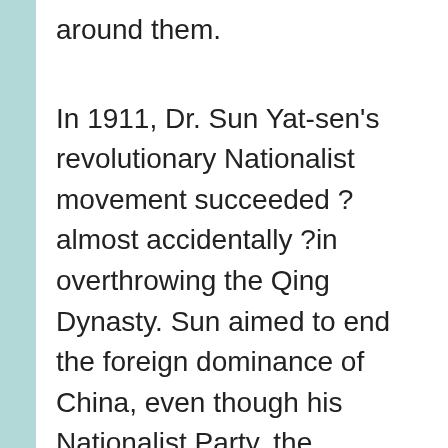around them.
In 1911, Dr. Sun Yat-sen’s revolutionary Nationalist movement succeeded ?almost accidentally ?in overthrowing the Qing Dynasty. Sun aimed to end the foreign dominance of China, even though his Nationalist Party, the Kuomintang, relied largely on funds gathered from Shanghai’s compradores, shrewd Chinese business men who made their fortunes working at foreign companies before proceeding to